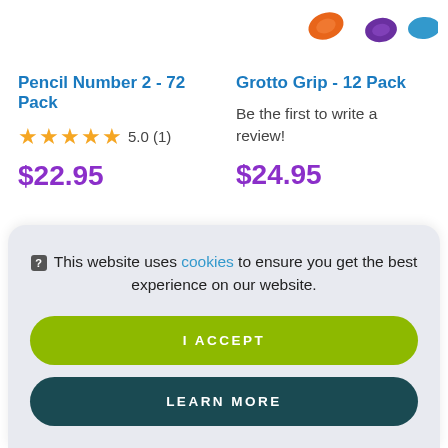[Figure (photo): Partial view of colorful pencil grip accessories (orange, purple, blue) at top right of page]
Pencil Number 2 - 72 Pack
★★★★★ 5.0 (1)
$22.95
Grotto Grip - 12 Pack
Be the first to write a review!
$24.95
This website uses cookies to ensure you get the best experience on our website.
I ACCEPT
LEARN MORE